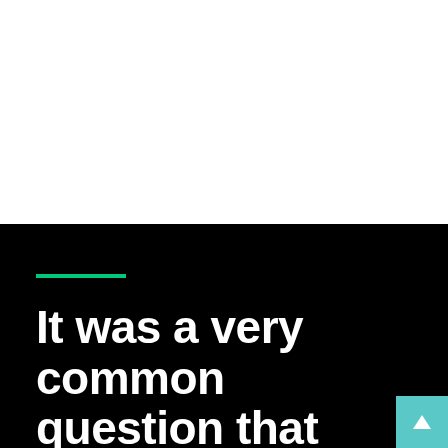[Figure (other): White blank upper half of the page]
It was a very common question that What IT